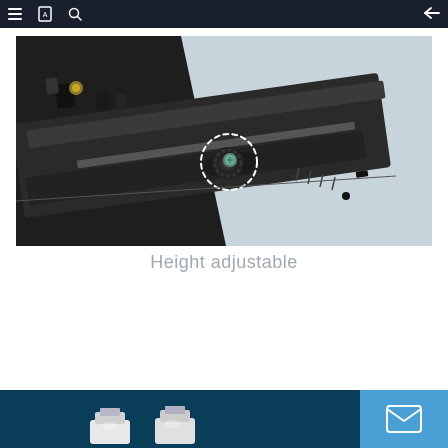Navigation bar with menu, document, search icons and back arrow
[Figure (photo): Close-up photo of a height-adjustable mechanism on a rail or track system. Shows a threaded adjustment screw/knob component highlighted with a white dotted circle. The rail is dark metal/aluminum with a light grey panel adjacent to it. Various clips and hardware components are visible along the track.]
Height adjustable
[Figure (photo): Partial photo at bottom of page showing small white/light colored electronic or mechanical components on a dark blue background.]